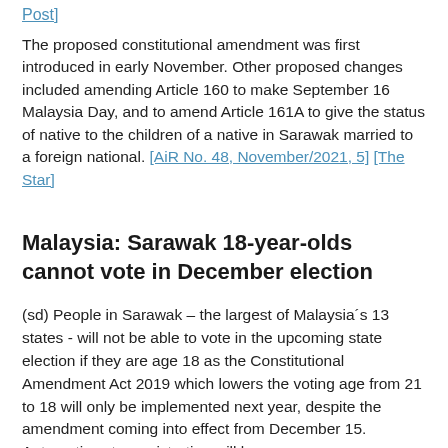Post]
The proposed constitutional amendment was first introduced in early November. Other proposed changes included amending Article 160 to make September 16 Malaysia Day, and to amend Article 161A to give the status of native to the children of a native in Sarawak married to a foreign national. [AiR No. 48, November/2021, 5] [The Star]
Malaysia: Sarawak 18-year-olds cannot vote in December election
(sd) People in Sarawak – the largest of Malaysia´s 13 states - will not be able to vote in the upcoming state election if they are age 18 as the Constitutional Amendment Act 2019 which lowers the voting age from 21 to 18 will only be implemented next year, despite the amendment coming into effect from December 15. Automatic voter registration will b...